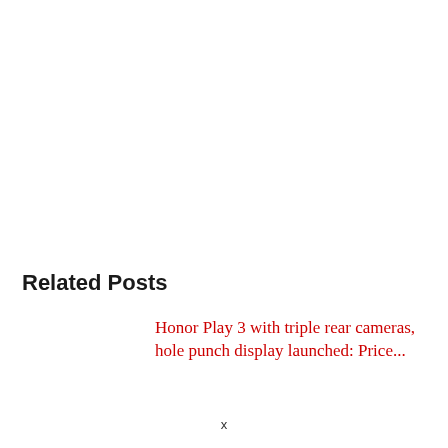Related Posts
Honor Play 3 with triple rear cameras, hole punch display launched: Price...